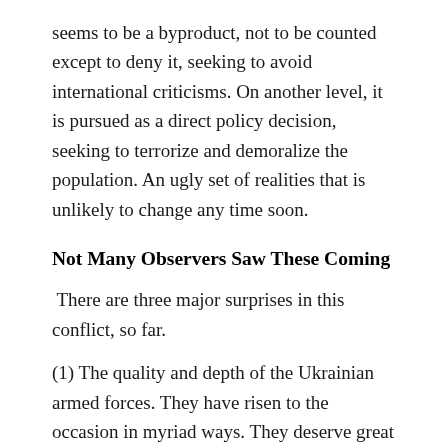seems to be a byproduct, not to be counted except to deny it, seeking to avoid international criticisms. On another level, it is pursued as a direct policy decision, seeking to terrorize and demoralize the population. An ugly set of realities that is unlikely to change any time soon.
Not Many Observers Saw These Coming
There are three major surprises in this conflict, so far.
(1) The quality and depth of the Ukrainian armed forces. They have risen to the occasion in myriad ways. They deserve great admiration